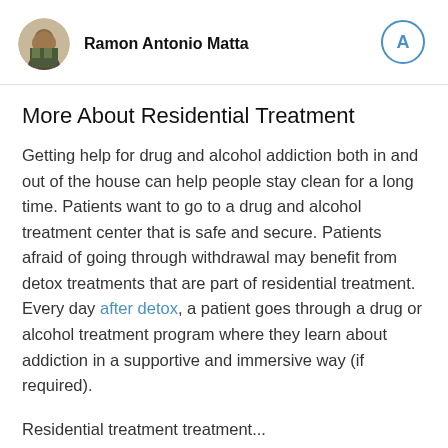Ramon Antonio Matta
More About Residential Treatment
Getting help for drug and alcohol addiction both in and out of the house can help people stay clean for a long time. Patients want to go to a drug and alcohol treatment center that is safe and secure. Patients afraid of going through withdrawal may benefit from detox treatments that are part of residential treatment. Every day after detox, a patient goes through a drug or alcohol treatment program where they learn about addiction in a supportive and immersive way (if required).
Residential treatment treatment...